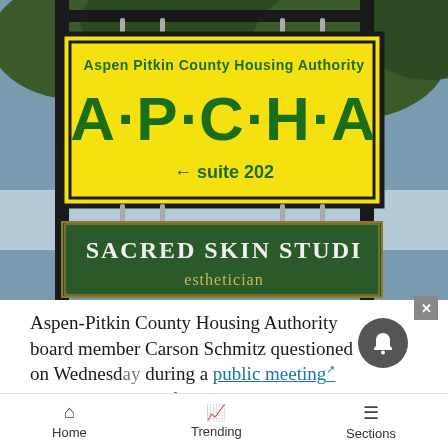[Figure (photo): Photo of APCHA (Aspen Pitkin County Housing Authority) sign in yellow and green hanging outdoors, with 'A·P·C·H·A suite 202' text and an arrow, and a 'Sacred Skin Studio' sign below it.]
Aspen-Pitkin County Housing Authority board member Carson Schmitz questioned on Wednesday during a public meeting what the point is of serving on a volunteer board if it has no say in the agency's
Home   Trending   Sections